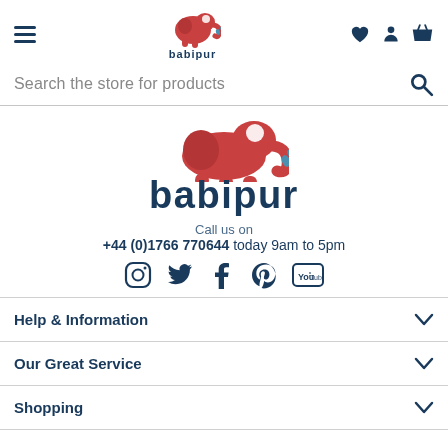[Figure (logo): Babipur logo in navigation bar — red elephant with white crescent, text 'babipur' below]
Search the store for products
[Figure (logo): Babipur large body logo — red elephant above, bold 'babipur' text below in dark navy]
Call us on
+44 (0)1766 770644 today 9am to 5pm
[Figure (infographic): Social media icons: Instagram, Twitter, Facebook, Pinterest, YouTube]
Help & Information
Our Great Service
Shopping